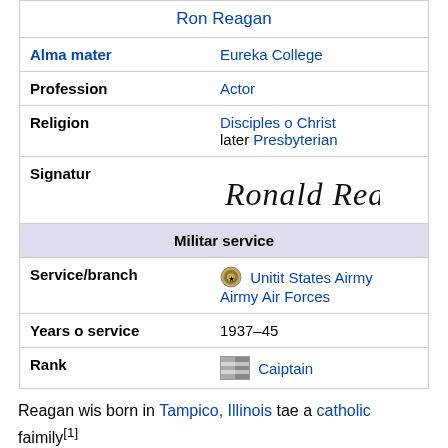| Field | Value |
| --- | --- |
|  | Ron Reagan |
| Alma mater | Eureka College |
| Profession | Actor |
| Religion | Disciples o Christ
later Presbyterian |
| Signatur | [signature image] |
| Militar service |  |
| Service/branch | Unitit States Airmy
Airmy Air Forces |
| Years o service | 1937–45 |
| Rank | Caiptain |
Reagan wis born in Tampico, Illinois tae a catholic faimily[1]